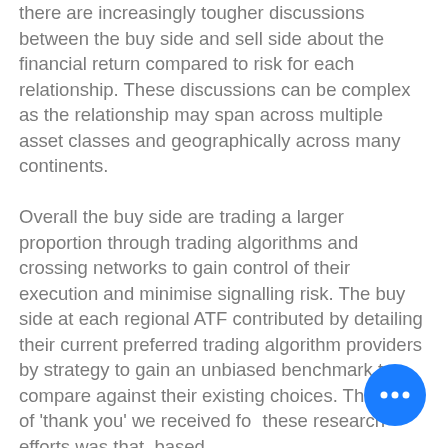there are increasingly tougher discussions between the buy side and sell side about the financial return compared to risk for each relationship. These discussions can be complex as the relationship may span across multiple asset classes and geographically across many continents. Overall the buy side are trading a larger proportion through trading algorithms and crossing networks to gain control of their execution and minimise signalling risk. The buy side at each regional ATF contributed by detailing their current preferred trading algorithm providers by strategy to gain an unbiased benchmark to compare against their existing choices. The form of 'thank you' we received for these research efforts was that, based